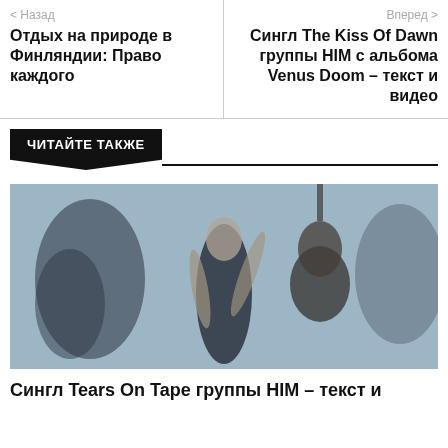< Назад
Отдых на природе в Финляндии: Право каждого
Вперед >
Сингл The Kiss Of Dawn группы HIM с альбома Venus Doom – текст и видео
ЧИТАЙТЕ ТАКЖЕ
[Figure (photo): A person with tattoos holding a guitar, dressed in black, with a blurred artistic background]
Сингл Tears On Tape группы HIM – текст и